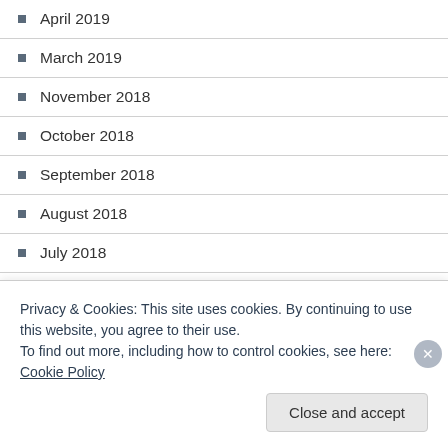April 2019
March 2019
November 2018
October 2018
September 2018
August 2018
July 2018
June 2018
May 2018
April 2018
Privacy & Cookies: This site uses cookies. By continuing to use this website, you agree to their use.
To find out more, including how to control cookies, see here: Cookie Policy
Close and accept